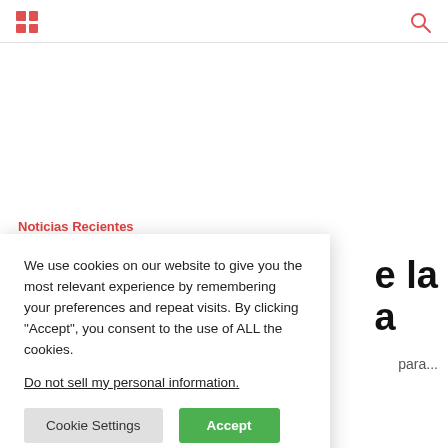[grid icon] [search icon]
Noticias Recientes
We use cookies on our website to give you the most relevant experience by remembering your preferences and repeat visits. By clicking “Accept”, you consent to the use of ALL the cookies.
Do not sell my personal information.
Cookie Settings  Accept